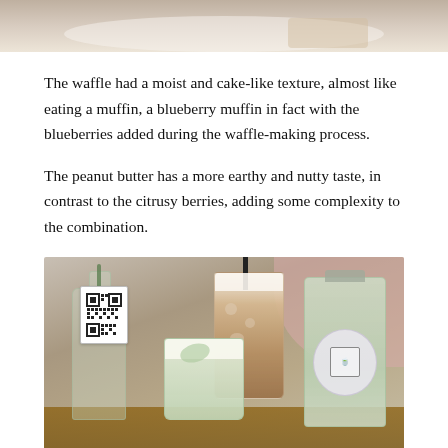[Figure (photo): Partial top of a food photo showing a plate with what appears to be a waffle or baked item, cropped at the top of the page]
The waffle had a moist and cake-like texture, almost like eating a muffin, a blueberry muffin in fact with the blueberries added during the waffle-making process.
The peanut butter has a more earthy and nutty taste, in contrast to the citrusy berries, adding some complexity to the combination.
[Figure (photo): Photo of beverages on a wooden table: a glass bottle with a QR code tag, an iced coffee in a tall glass with a black straw, a matcha or green drink in a short glass, and a green bottle with a circular logo label, with a pink chair or surface in the background]